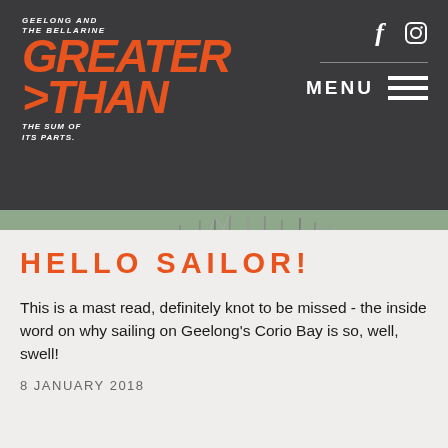Geelong and The Bellarine Greater Than The Sum Of Its Parts. | MENU | Facebook | Instagram
[Figure (photo): Harbour marina scene with sailboats and yachts moored in Geelong's Corio Bay; a blue catamaran labelled 'Underwater Explorer' visible on the left; waterfront buildings and trees in background; brown/tan water in foreground.]
HELLO SAILOR!
This is a mast read, definitely knot to be missed - the inside word on why sailing on Geelong's Corio Bay is so, well, swell!
8 JANUARY 2018